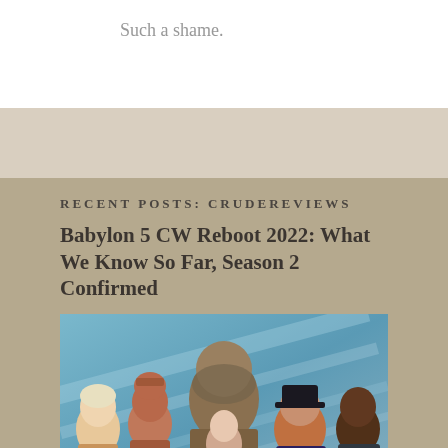Such a shame.
RECENT POSTS: CRUDEREVIEWS
Babylon 5 CW Reboot 2022: What We Know So Far, Season 2 Confirmed
[Figure (photo): Cast photo of Babylon 5 TV show characters in costumes and alien makeup, group of six people standing together]